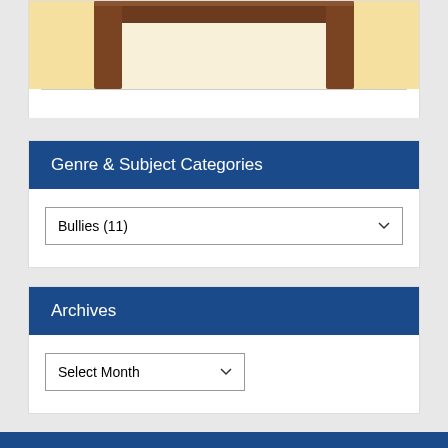[Figure (illustration): Partial illustration showing top of a wooden chair/desk against a cream/beige background]
Genre & Subject Categories
Bullies  (11) [dropdown]
Archives
Select Month [dropdown]
Powered by WordPress and Smartline.
9853658
Podcast powered by podPress v8.8.10.17